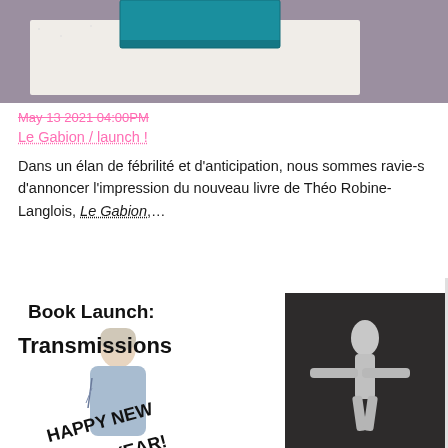[Figure (photo): Top portion of a book or printed object with teal/blue cover on white textured paper, placed on a purple/mauve background]
May 13 2021 04:00PM
Le Gabion / launch !
Dans un élan de fébrilité et d'anticipation, nous sommes ravie-s d'annoncer l'impression du nouveau livre de Théo Robine-Langlois, Le Gabion,…
[Figure (photo): Book launch event poster with bold black text reading 'Book Launch: Transmissions' on white background, overlapping with text 'HAPPY NEW YEAR!' over illustrated figures including a tattooed person and a dark background with a silver human figure sculpture]